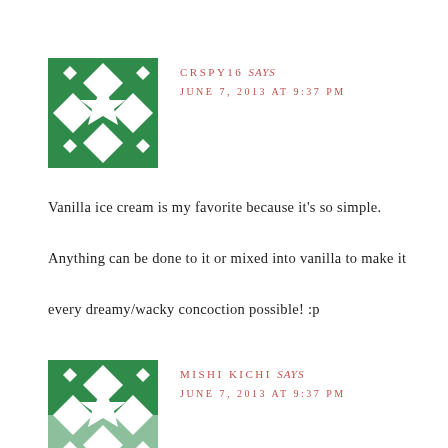[Figure (illustration): Green geometric avatar with star/diamond pattern for user CRSPY16]
CRSPY16 says
JUNE 7, 2013 AT 9:37 PM
Vanilla ice cream is my favorite because it's so simple. Anything can be done to it or mixed into vanilla to make it every dreamy/wacky concoction possible! :p
[Figure (illustration): Green geometric avatar with star/diamond pattern for user MISHI KICHI (partially visible)]
MISHI KICHI says
JUNE 7, 2013 AT 9:37 PM